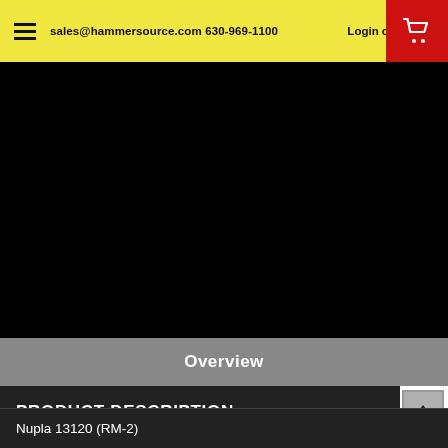sales@hammersource.com 630-969-1100  Login or Sign Up
[Figure (photo): Large black area representing a product image area (no visible product image, solid black background)]
Overview
PRODUCT DESCRIPTION
Nupla 13120 (RM-2)